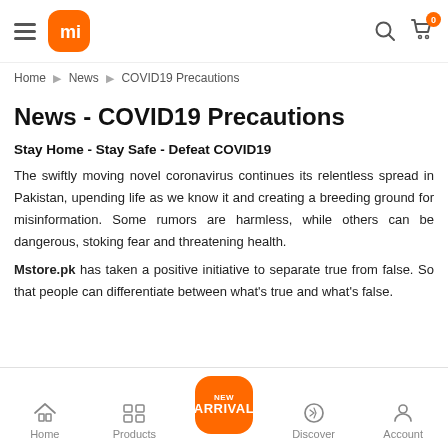[Figure (screenshot): Xiaomi (Mi) mobile app top navigation bar with hamburger menu, Mi logo in orange rounded square, search icon, and cart icon with orange badge showing 0]
Home ▶ News ▶ COVID19 Precautions
News - COVID19 Precautions
Stay Home - Stay Safe - Defeat COVID19
The swiftly moving novel coronavirus continues its relentless spread in Pakistan, upending life as we know it and creating a breeding ground for misinformation. Some rumors are harmless, while others can be dangerous, stoking fear and threatening health.
Mstore.pk has taken a positive initiative to separate true from false. So that people can differentiate between what's true and what's false.
[Figure (screenshot): Bottom navigation bar with Home, Products, New Arrival (orange highlighted), Discover, and Account icons]